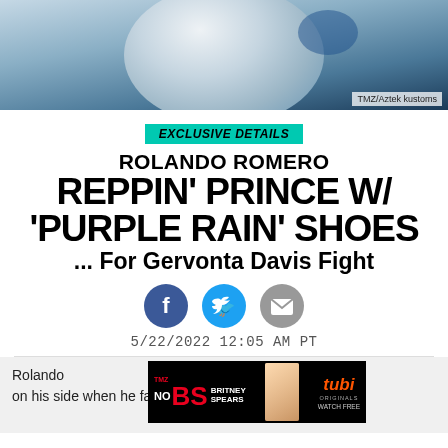[Figure (photo): Top portion of a decorative globe or ball with blue and white tones, with TMZ/Aztek kustoms watermark in bottom right]
TMZ/Aztek kustoms
EXCLUSIVE DETAILS
ROLANDO ROMERO REPPIN' PRINCE W/ 'PURPLE RAIN' SHOES ... For Gervonta Davis Fight
[Figure (infographic): Social share icons: Facebook (blue circle), Twitter (blue circle), email/envelope (grey circle)]
5/22/2022 12:05 AM PT
Rolando ...dness on his side when he faces Gervonta Davis next
[Figure (infographic): Advertisement banner: No BS Britney Spears on TMZ, watch free on Tubi Originals]